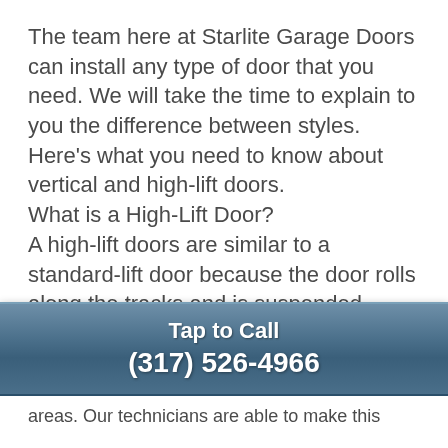The team here at Starlite Garage Doors can install any type of door that you need. We will take the time to explain to you the difference between styles. Here's what you need to know about vertical and high-lift doors.
What is a High-Lift Door?
A high-lift doors are similar to a standard-lift door because the door rolls along the tracks and is suspended overhead. The difference between those two is that the tracks are hung much higher up to stay out of the way of tall equipment. The door will have to travel up the length of the wall to reach the curved part of the track and pull it onto the suspended part of the track.
These types of doors are perfect for loading
[Figure (other): Blue gradient call-to-action bar with 'Tap to Call' and phone number (317) 526-4966]
areas. Our technicians are able to make this